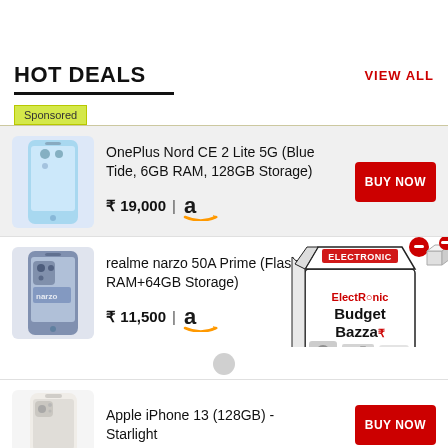HOT DEALS
VIEW ALL
Sponsored
[Figure (photo): OnePlus Nord CE 2 Lite 5G smartphone in Blue Tide color]
OnePlus Nord CE 2 Lite 5G (Blue Tide, 6GB RAM, 128GB Storage)
₹ 19,000
[Figure (logo): Amazon logo]
BUY NOW
[Figure (photo): realme narzo 50A Prime smartphone in Flash Blue color]
realme narzo 50A Prime (Flash Blue, 4GB RAM+64GB Storage)
₹ 11,500
[Figure (logo): Amazon logo]
[Figure (illustration): ElectRonic Budget Bazzar promotional box graphic]
[Figure (photo): Apple iPhone 13 128GB Starlight smartphone]
Apple iPhone 13 (128GB) - Starlight
BUY NOW